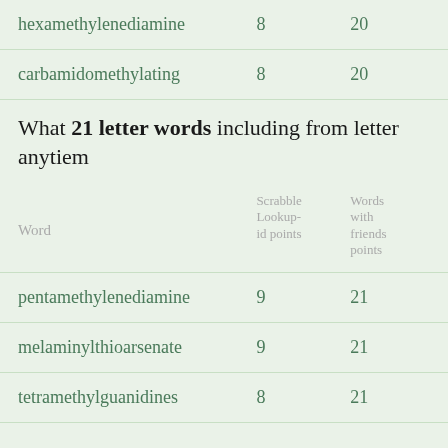| Word | Scrabble Lookup-id points | Words with friends points |
| --- | --- | --- |
| hexamethylenediamine | 8 | 20 |
| carbamidomethylating | 8 | 20 |
What 21 letter words including from letter anytiem
| Word | Scrabble Lookup-id points | Words with friends points |
| --- | --- | --- |
| pentamethylenediamine | 9 | 21 |
| melaminylthioarsenate | 9 | 21 |
| tetramethylguanidines | 8 | 21 |